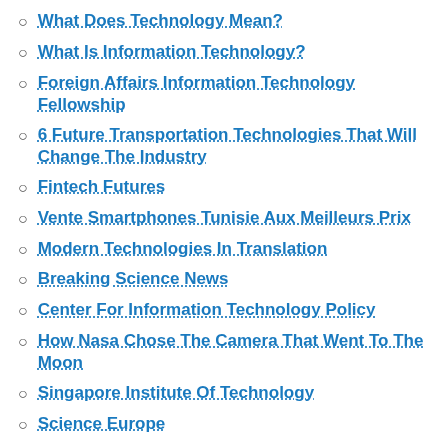What Does Technology Mean?
What Is Information Technology?
Foreign Affairs Information Technology Fellowship
6 Future Transportation Technologies That Will Change The Industry
Fintech Futures
Vente Smartphones Tunisie Aux Meilleurs Prix
Modern Technologies In Translation
Breaking Science News
Center For Information Technology Policy
How Nasa Chose The Camera That Went To The Moon
Singapore Institute Of Technology
Science Europe
Gaming Pcs For Sale Online
The Future Of Technology And Learning
Eurasia Journal Of Mathematics, Science And